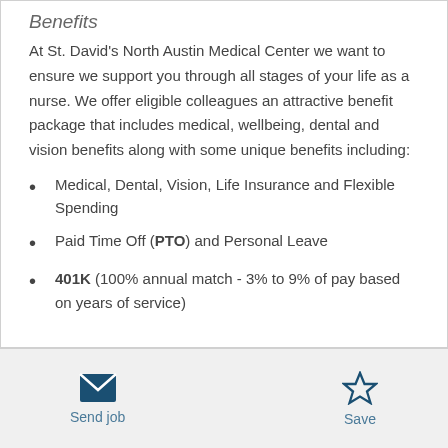Benefits
At St. David's North Austin Medical Center we want to ensure we support you through all stages of your life as a nurse. We offer eligible colleagues an attractive benefit package that includes medical, wellbeing, dental and vision benefits along with some unique benefits including:
Medical, Dental, Vision, Life Insurance and Flexible Spending
Paid Time Off (PTO) and Personal Leave
401K (100% annual match - 3% to 9% of pay based on years of service)
Send job | Save